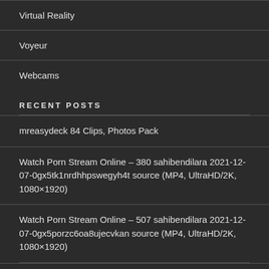Virtual Reality
Voyeur
Webcams
RECENT POSTS
mreasydeck 84 Clips, Photos Pack
Watch Porn Stream Online – 380 sahibendilara 2021-12-07-0gx5tk1nrdhhpswegyh4t source (MP4, UltraHD/2K, 1080×1920)
Watch Porn Stream Online – 507 sahibendilara 2021-12-07-0gx5porzc6oa8ujecvkan source (MP4, UltraHD/2K, 1080×1920)
Watch Porn Stream Online – 207 sahibendilara 2021-11-...